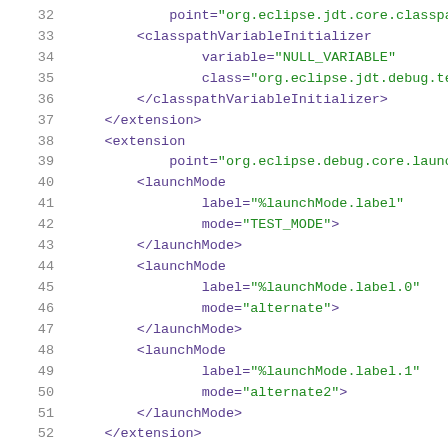[Figure (screenshot): Source code editor screenshot showing XML/plugin.xml content, lines 32-52, with syntax highlighting: line numbers in gray, tag/attribute names in purple, attribute values in green.]